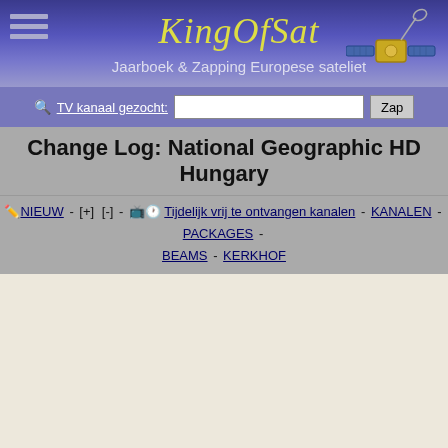KingOfSat - Jaarboek & Zapping Europese sateliet
TV kanaal gezocht: [input] Zap
Change Log: National Geographic HD Hungary
NIEUW - [+] [-] - Tijdelijk vrij te ontvangen kanalen - KANALEN - PACKAGES - BEAMS - KERKHOF